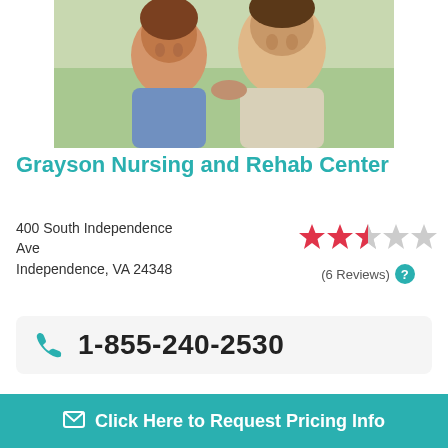[Figure (photo): Photo of an elderly couple, a woman and a man, smiling together outdoors]
Grayson Nursing and Rehab Center
400 South Independence Ave
Independence, VA 24348
[Figure (infographic): 2.5 out of 5 stars rating with (6 Reviews) label and help icon]
1-855-240-2530
Located at 400 South Independence Ave in Independence, Virginia, Grayson Nursing and Rehab Center is a 120 unit nursing facility. The neighboring area is sparsely populated, with approximately 5,000 people residing in the zip code of 24348. It
Click Here to Request Pricing Info